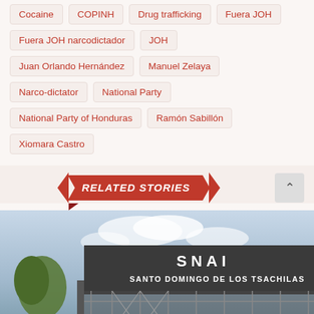Cocaine
COPINH
Drug trafficking
Fuera JOH
Fuera JOH narcodictador
JOH
Juan Orlando Hernández
Manuel Zelaya
Narco-dictator
National Party
National Party of Honduras
Ramón Sabillón
Xiomara Castro
RELATED STORIES
[Figure (photo): Exterior of SNAI Santo Domingo de los Tsachilas facility showing the sign on the building and fence/gate in foreground]